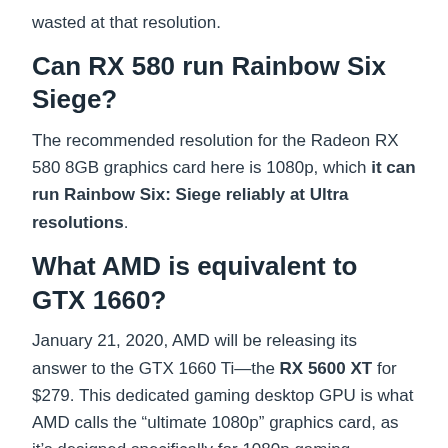wasted at that resolution.
Can RX 580 run Rainbow Six Siege?
The recommended resolution for the Radeon RX 580 8GB graphics card here is 1080p, which it can run Rainbow Six: Siege reliably at Ultra resolutions.
What AMD is equivalent to GTX 1660?
January 21, 2020, AMD will be releasing its answer to the GTX 1660 Ti—the RX 5600 XT for $279. This dedicated gaming desktop GPU is what AMD calls the “ultimate 1080p” graphics card, as it’s designed specifically for 1080p gaming, including esports.
Is RX 580 8GB good for mining?
It’s quite clear that the Radeon RX 580 8GB is still a great crypto-mining card, but due to the scarcity of